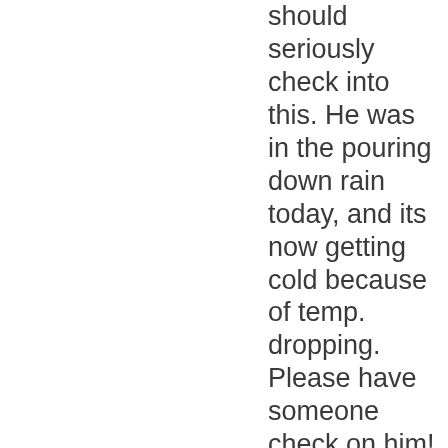should seriously check into this. He was in the pouring down rain today, and its now getting cold because of temp. dropping. Please have someone check on him! the address is 918 N Woodburn Ave. he is chained to the back porch. Thanks!